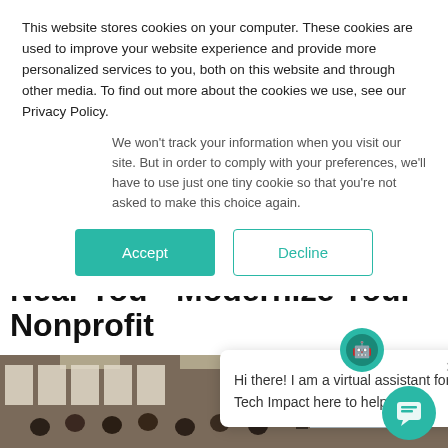This website stores cookies on your computer. These cookies are used to improve your website experience and provide more personalized services to you, both on this website and through other media. To find out more about the cookies we use, see our Privacy Policy.
We won't track your information when you visit our site. But in order to comply with your preferences, we'll have to use just one tiny cookie so that you're not asked to make this choice again.
Accept
Decline
Near You - Modernize Your Nonprofit
Hi there! I am a virtual assistant for Tech Impact here to help you.
[Figure (photo): Audience seated in a conference room watching a presentation on a projector screen showing a globe graphic. A presenter stands near the screen. Posters line the walls.]